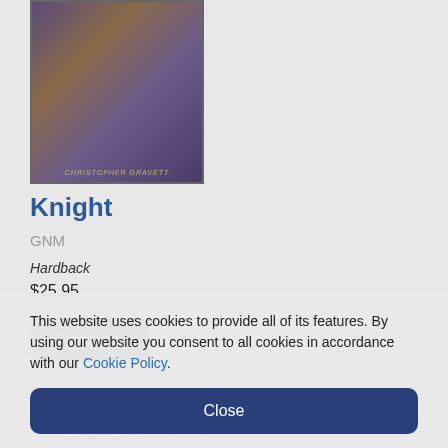[Figure (photo): Book cover of 'Knight' by Christopher Gravett showing medieval illuminated manuscript art with figures in blue and white robes, with author name at bottom]
Knight
GNM
Hardback
$25.95
[Figure (photo): Book cover of 'Crusader Castles in the Holy Land: An Illustrated History of the Crusader Fortifications of the Middle East and Mediterranean' showing title text and three small landscape/castle images at bottom]
This website uses cookies to provide all of its features. By using our website you consent to all cookies in accordance with our Cookie Policy.
Close